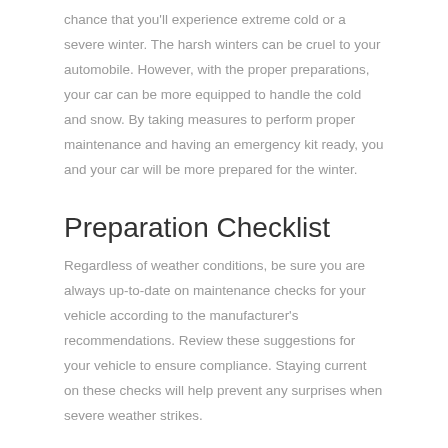chance that you'll experience extreme cold or a severe winter. The harsh winters can be cruel to your automobile. However, with the proper preparations, your car can be more equipped to handle the cold and snow. By taking measures to perform proper maintenance and having an emergency kit ready, you and your car will be more prepared for the winter.
Preparation Checklist
Regardless of weather conditions, be sure you are always up-to-date on maintenance checks for your vehicle according to the manufacturer's recommendations. Review these suggestions for your vehicle to ensure compliance. Staying current on these checks will help prevent any surprises when severe weather strikes.
Before entering the winter weather season, there are numerous factors to check in order to prepare your automobile. Consider the following